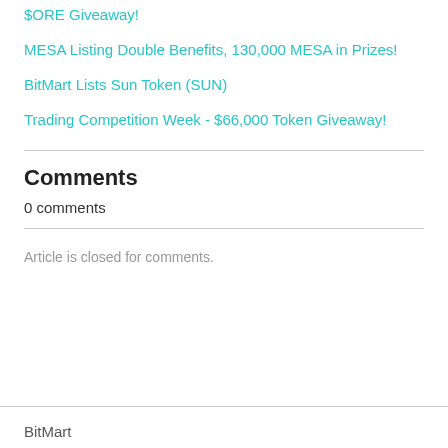$ORE Giveaway!
MESA Listing Double Benefits, 130,000 MESA in Prizes!
BitMart Lists Sun Token (SUN)
Trading Competition Week - $66,000 Token Giveaway!
Comments
0 comments
Article is closed for comments.
BitMart